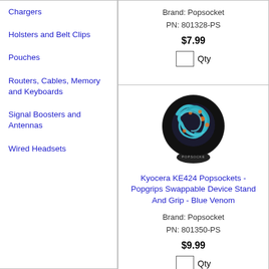Chargers
Holsters and Belt Clips
Pouches
Routers, Cables, Memory and Keyboards
Signal Boosters and Antennas
Wired Headsets
Brand: Popsocket
PN: 801328-PS
$7.99
Qty
[Figure (photo): Popsocket Blue Venom product photo - circular grip with blue dragon design on dark background]
Kyocera KE424 Popsockets - Popgrips Swappable Device Stand And Grip - Blue Venom
Brand: Popsocket
PN: 801350-PS
$9.99
Qty